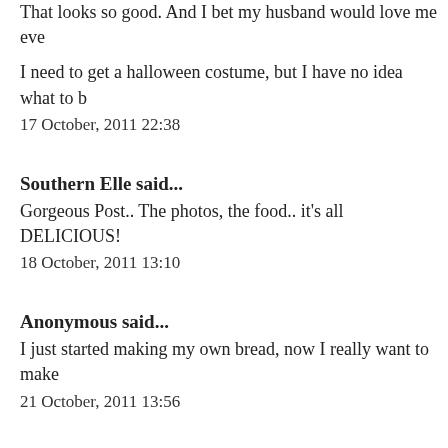That looks so good. And I bet my husband would love me eve
I need to get a halloween costume, but I have no idea what to b
17 October, 2011 22:38
Southern Elle said...
Gorgeous Post.. The photos, the food.. it's all DELICIOUS!
18 October, 2011 13:10
Anonymous said...
I just started making my own bread, now I really want to make
21 October, 2011 13:56
Anonymous said...
Um, somehow my comment was published on a different post
21 October, 2011 14:02